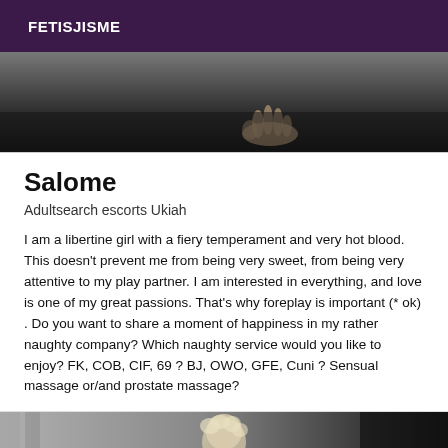FETISJISME
[Figure (photo): Dark photo showing a hand resting on a dark surface]
Salome
Adultsearch escorts Ukiah
I am a libertine girl with a fiery temperament and very hot blood. This doesn't prevent me from being very sweet, from being very attentive to my play partner. I am interested in everything, and love is one of my great passions. That's why foreplay is important (* ok) . Do you want to share a moment of happiness in my rather naughty company? Which naughty service would you like to enjoy? FK, COB, CIF, 69 ? BJ, OWO, GFE, Cuni ? Sensual massage or/and prostate massage?
[Figure (photo): Photo of a person with light curly hair, partially visible]